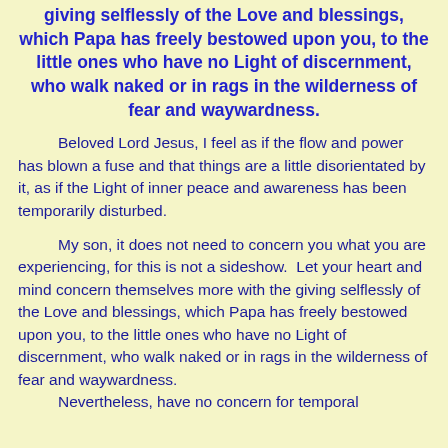giving selflessly of the Love and blessings, which Papa has freely bestowed upon you, to the little ones who have no Light of discernment, who walk naked or in rags in the wilderness of fear and waywardness.
Beloved Lord Jesus, I feel as if the flow and power has blown a fuse and that things are a little disorientated by it, as if the Light of inner peace and awareness has been temporarily disturbed.
My son, it does not need to concern you what you are experiencing, for this is not a sideshow.  Let your heart and mind concern themselves more with the giving selflessly of the Love and blessings, which Papa has freely bestowed upon you, to the little ones who have no Light of discernment, who walk naked or in rags in the wilderness of fear and waywardness. Nevertheless, have no concern for temporal